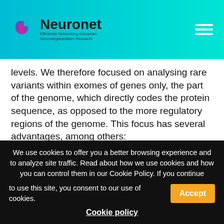[Figure (logo): Neuronet logo with teal gradient header background, brain/neuron icon, and hamburger menu icon]
levels. We therefore focused on analysing rare variants within exomes of genes only, the part of the genome, which directly codes the protein sequence, as opposed to the more regulatory regions of the genome. This focus has several advantages, among others:
Measuring only variants within exomes is cheaper, than measuring across the whole genome, which allows for a greater sample
We use cookies to offer you a better browsing experience and to analyze site traffic. Read about how we use cookies and how you can control them in our Cookie Policy. If you continue to use this site, you consent to our use of cookies.
Cookie policy